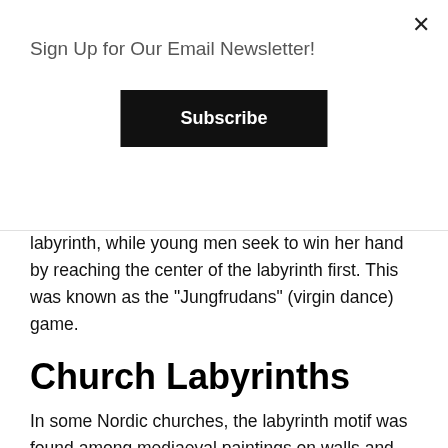Sign Up for Our Email Newsletter!
Subscribe
labyrinth, while young men seek to win her hand by reaching the center of the labyrinth first. This was known as the "Jungfrudans" (virgin dance) game.
Church Labyrinths
In some Nordic churches, the labyrinth motif was found among mediaeval paintings on walls and ceilings. Some were fresco paintings, painted directly on the walls, and showcased as a main adornment of the church. Others were hidden in plain sight, often to the side of doorways. These suggest they were used for more protective purposes. Lastly, some labyrinths were